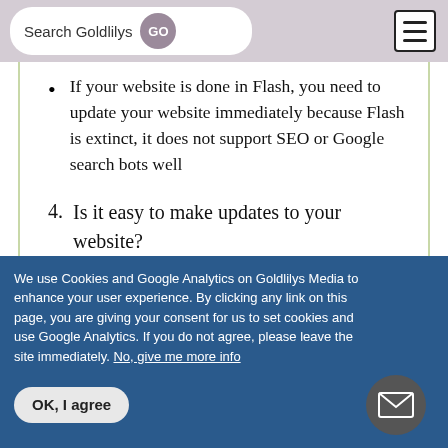Search Goldlilys  GO
If your website is done in Flash, you need to update your website immediately because Flash is extinct, it does not support SEO or Google search bots well
4. Is it easy to make updates to your website?
We use Cookies and Google Analytics on Goldlilys Media to enhance your user experience. By clicking any link on this page, you are giving your consent for us to set cookies and use Google Analytics. If you do not agree, please leave the site immediately. No, give me more info
OK, I agree